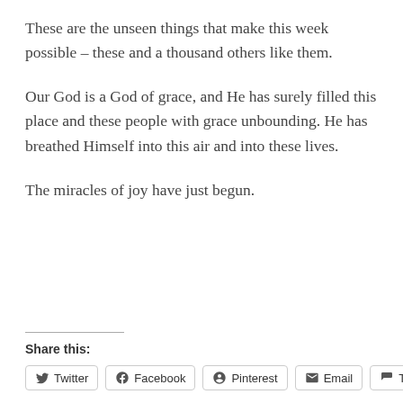These are the unseen things that make this week possible – these and a thousand others like them.
Our God is a God of grace, and He has surely filled this place and these people with grace unbounding. He has breathed Himself into this air and into these lives.
The miracles of joy have just begun.
Share this:
Twitter  Facebook  Pinterest  Email  Tumblr